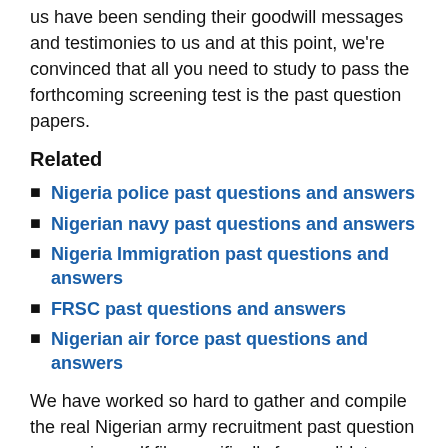us have been sending their goodwill messages and testimonies to us and at this point, we're convinced that all you need to study to pass the forthcoming screening test is the past question papers.
Related
Nigeria police past questions and answers
Nigerian navy past questions and answers
Nigeria Immigration past questions and answers
FRSC past questions and answers
Nigerian air force past questions and answers
We have worked so hard to gather and compile the real Nigerian army recruitment past question papers in a pdf file specifically for candidates who are about to write the forthcoming Nigerian army CBT examination.